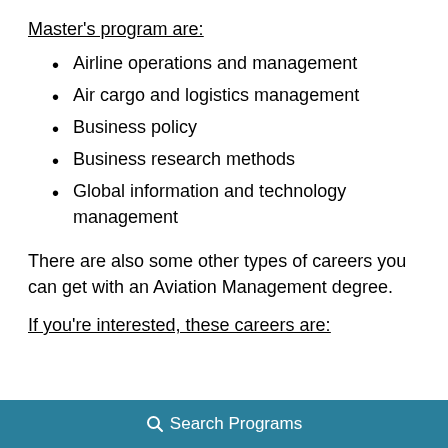Master's program are:
Airline operations and management
Air cargo and logistics management
Business policy
Business research methods
Global information and technology management
There are also some other types of careers you can get with an Aviation Management degree.
If you're interested, these careers are:
Search Programs